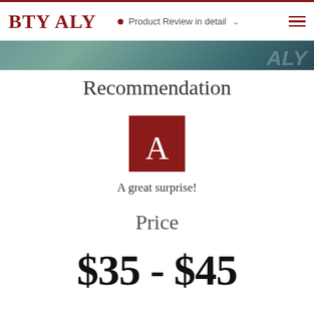BTY ALY  •  Product Review in detail
[Figure (photo): Teal/green gradient banner image with faint italic text overlay on right side]
Recommendation
[Figure (logo): Dark red/maroon square icon with white letter A in serif font]
A great surprise!
Price
$35 - $45